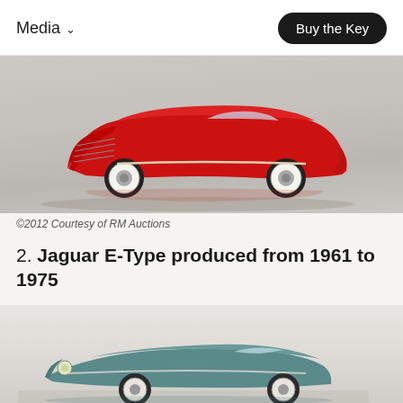Media ∨   Buy the Key
[Figure (photo): Red classic Corvette convertible (1950s) photographed on a neutral grey background, side profile view showing whitewall tires and chrome details]
©2012 Courtesy of RM Auctions
2. Jaguar E-Type produced from 1961 to 1975
[Figure (photo): Partial view of a blue/teal Jaguar E-Type on a light grey background, bottom portion of the page, car partially cropped]